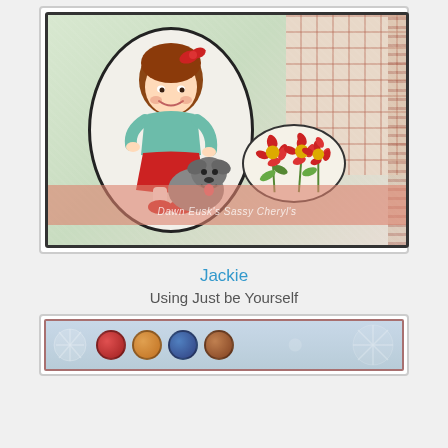[Figure (photo): Handmade greeting card featuring an oval cameo of a girl with brown hair in a red bow wearing a teal top and red skirt, holding a grey dog. Background has plaid patterned paper top right and a small oval of daisy flowers bottom right. Pink/salmon band at bottom with watermark text reading 'Dawn Eusk's Sassy Cheryl's'. White lace mat background.]
Jackie
Using Just be Yourself
[Figure (photo): Partially visible handmade card with blue floral/snowflake background and a row of decorative buttons (red, peach, blue, brown) in the center.]